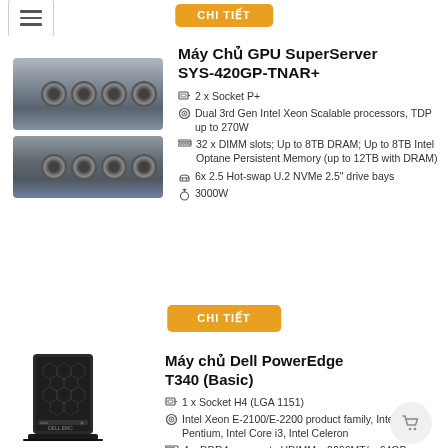CHI TIẾT
[Figure (photo): Rackmount GPU server - SuperServer SYS-420GP-TNAR+, 4U form factor with multiple cooling fans]
Máy Chủ GPU SuperServer SYS-420GP-TNAR+
2 x Socket P+
Dual 3rd Gen Intel Xeon Scalable processors, TDP up to 270W
32 x DIMM slots; Up to 8TB DRAM; Up to 8TB Intel Optane Persistent Memory (up to 12TB with DRAM)
6x 2.5 Hot-swap U.2 NVMe 2.5" drive bays
3000W
CHI TIẾT
[Figure (photo): Tower server - Dell PowerEdge T340 with honeycomb front panel design]
Máy chủ Dell PowerEdge T340 (Basic)
1 x Socket H4 (LGA 1151)
Intel Xeon E-2100/E-2200 product family, Intel Pentium, Intel Core i3, Intel Celeron
4 x DDR4 , supports UDIMMs, 2666MT/s, 64GB max.
8 x 3.5" Hot-swap